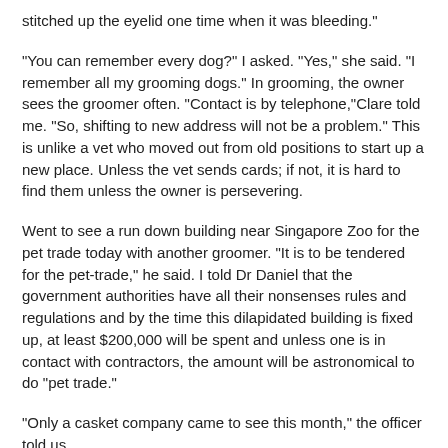stitched up the eyelid one time when it was bleeding."
"You can remember every dog?" I asked. "Yes," she said. "I remember all my grooming dogs." In grooming, the owner sees the groomer often. "Contact is by telephone,"Clare told me. "So, shifting to new address will not be a problem." This is unlike a vet who moved out from old positions to start up a new place. Unless the vet sends cards; if not, it is hard to find them unless the owner is persevering.
Went to see a run down building near Singapore Zoo for the pet trade today with another groomer. "It is to be tendered for the pet-trade," he said. I told Dr Daniel that the government authorities have all their nonsenses rules and regulations and by the time this dilapidated building is fixed up, at least $200,000 will be spent and unless one is in contact with contractors, the amount will be astronomical to do "pet trade."
"Only a casket company came to see this month," the officer told us.